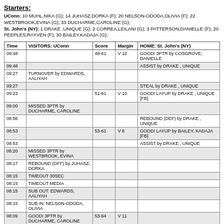Starters:
UConn: 10 MUHL,NIKA (G); 14 JUHASZ,DORKA (F); 20 NELSON-ODODA,OLIVIA (F); 22 WESTBROOK,EVINA (G); 33 DUCHARME,CAROLINE (G); St. John's (NY): 1 DRAKE ,UNIQUE (G); 2 CORREA,LEILANI (G); 3 PATTERSON,DANIELLE (F); 20 PEEPLES,RAYVEN (F); 30 BAILEY,KADAJA (G);
| Time | VISITORS: UConn | Score | Margin | HOME: St. John's (NY) |
| --- | --- | --- | --- | --- |
| 09:48 |  | 49-61 | V 12 | GOOD! 3PTR by COSGROVE, DANIELLE |
| 09:48 |  |  |  | ASSIST by DRAKE , UNIQUE |
| 09:27 | TURNOVER by EDWARDS, AALIYAH |  |  |  |
| 09:27 |  |  |  | STEAL by DRAKE , UNIQUE |
| 09:23 |  | 51-61 | V 10 | GOOD! LAYUP by DRAKE , UNIQUE [FB] |
| 09:00 | MISSED 3PTR by DUCHARME, CAROLINE |  |  |  |
| 08:56 |  |  |  | REBOUND (DEF) by DRAKE , UNIQUE |
| 08:53 |  | 53-61 | V 8 | GOOD! LAYUP by BAILEY, KADAJA [FB] |
| 08:53 |  |  |  | ASSIST by DRAKE , UNIQUE |
| 08:20 | MISSED 3PTR by WESTBROOK, EVINA |  |  |  |
| 08:17 | REBOUND (OFF) by JUHASZ, DORKA |  |  |  |
| 08:15 | TIMEOUT 30SEC |  |  |  |
| 08:15 | TIMEOUT MEDIA |  |  |  |
| 08:15 | SUB OUT: EDWARDS, AALIYAH |  |  |  |
| 08:15 | SUB IN: NELSON-ODODA, OLIVIA |  |  |  |
| 08:09 | GOOD! 3PTR by DUCHARME, CAROLINE | 53-64 | V 11 |  |
| 08:09 | ASSIST by NELSON-ODODA, OLIVIA |  |  |  |
| 07:47 |  |  |  | MISSED 3PTR by COSGROVE, DANIELLE |
| 07:42 | REBOUND (DEF) by |  |  |  |